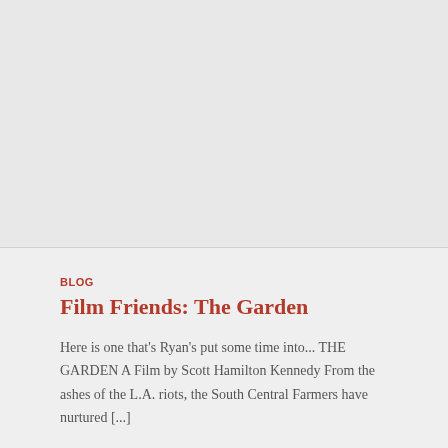[Figure (photo): Large gray/light image placeholder area at the top of the page]
BLOG
Film Friends: The Garden
Here is one that's Ryan's put some time into... THE GARDEN A Film by Scott Hamilton Kennedy From the ashes of the L.A. riots, the South Central Farmers have nurtured [...]